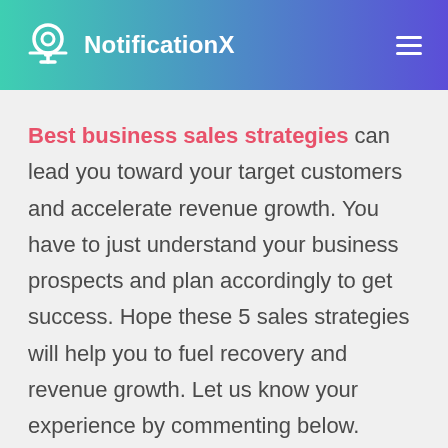NotificationX
Best business sales strategies can lead you toward your target customers and accelerate revenue growth. You have to just understand your business prospects and plan accordingly to get success. Hope these 5 sales strategies will help you to fuel recovery and revenue growth. Let us know your experience by commenting below.
To find out more exciting blogs, and